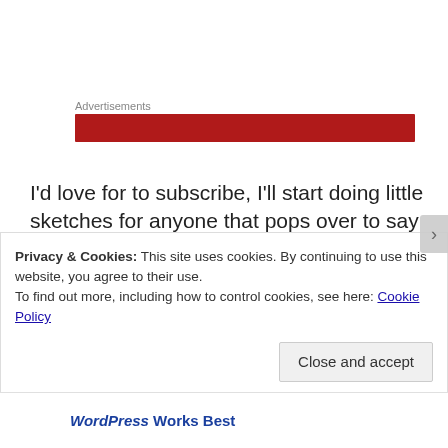Advertisements
[Figure (other): Red advertisement banner bar]
I'd love for to subscribe, I'll start doing little sketches for anyone that pops over to say hi! Thank you in advance for the support xoxo
Privacy & Cookies: This site uses cookies. By continuing to use this website, you agree to their use.
To find out more, including how to control cookies, see here: Cookie Policy
WordPress Works Best